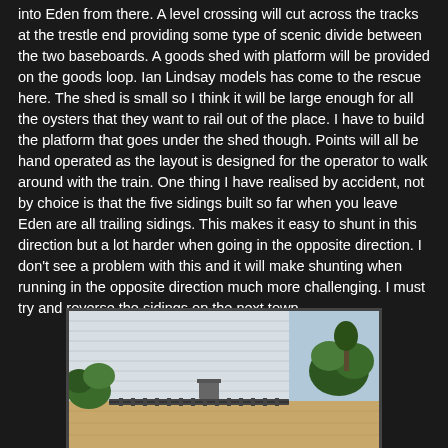into Eden from there. A level crossing will cut across the tracks at the trestle end providing some type of scenic divide between the two baseboards. A goods shed with platform will be provided on the goods loop. Ian Lindsay models has come to the rescue here. The shed is small so I think it will be large enough for all the oysters that they want to rail out of the place. I have to build the platform that goes under the shed though. Points will all be hand operated as the layout is designed for the operator to walk around with the train. One thing I have realised by accident, not by choice is that the five sidings built so far when you leave Eden are all trailing sidings. This makes it easy to shunt in this direction but a lot harder when going in the opposite direction. I don't see a problem with this and it will make shunting when running in the opposite direction much more challenging. I must try and reverse the sidings on the next town.
[Figure (photo): A model railway layout under construction on a wooden baseboard. Shows model track laid on the board with some green scenery/foliage elements. A white corrugated wall or structure is visible in the background.]